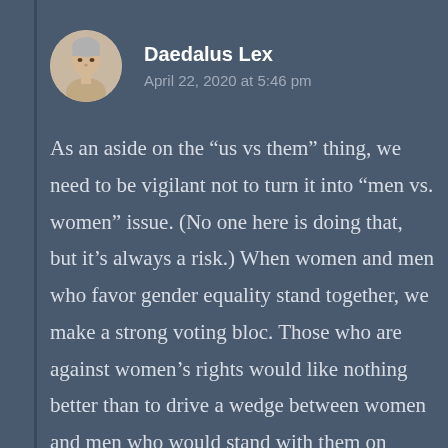Daedalus Lex
April 22, 2020 at 5:46 pm
As an aside on the “us vs them” thing, we need to be vigilant not to turn it into “men vs. women” issue. (No one here is doing that, but it’s always a risk.) When women and men who favor gender equality stand together, we make a strong voting bloc. Those who are against women’s rights would like nothing better than to drive a wedge between women and men who would stand with them on gender